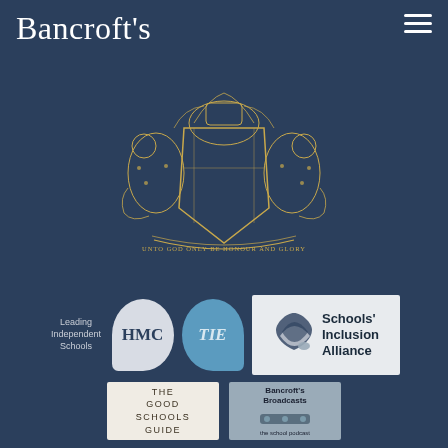Bancroft's
[Figure (logo): Bancroft's school coat of arms / crest in gold on dark navy background, with motto ribbon reading UNTO GOD ONLY BE HONOUR AND GLORY]
[Figure (logo): Leading Independent Schools text label alongside HMC speech bubble logo, TIE speech bubble logo, and Schools' Inclusion Alliance logo]
[Figure (logo): The Good Schools Guide logo box and Bancroft's Broadcasts podcast logo box]